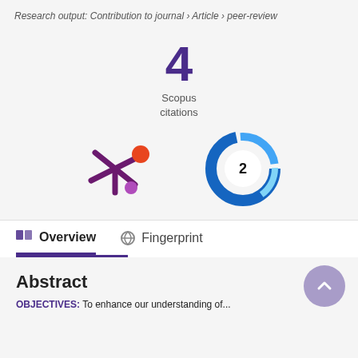Research output: Contribution to journal › Article › peer-review
4
Scopus
citations
[Figure (logo): Altmetric badge - purple flower/snowflake shaped logo with orange and purple circles]
[Figure (logo): Dimensions badge - blue circular ring logo with number 2 in center]
Overview
Fingerprint
Abstract
OBJECTIVES: To enhance our understanding of...